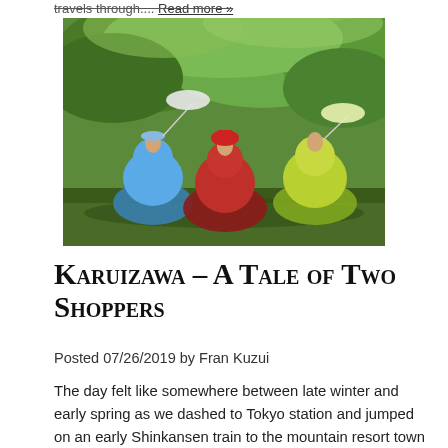travels through.... Read more »
[Figure (photo): Three women in colorful Victorian-style ball gowns (blue, red, and green-yellow) in a lush green forest setting, two holding parasols]
Karuizawa – A Tale of Two Shoppers
Posted 07/26/2019 by Fran Kuzui
The day felt like somewhere between late winter and early spring as we dashed to Tokyo station and jumped on an early Shinkansen train to the mountain resort town of Karuizawa hoping for some retail therapy and much needed relaxation in hotspring baths at Hoshino Onsen. It was the